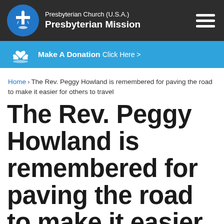Presbyterian Church (U.S.A.) Presbyterian Mission
[Figure (infographic): Blue donation banner with hands/heart icon reading: Make A Donation Click Here >]
Home › The Rev. Peggy Howland is remembered for paving the road to make it easier for others to travel
The Rev. Peggy Howland is remembered for paving the road to make it easier for